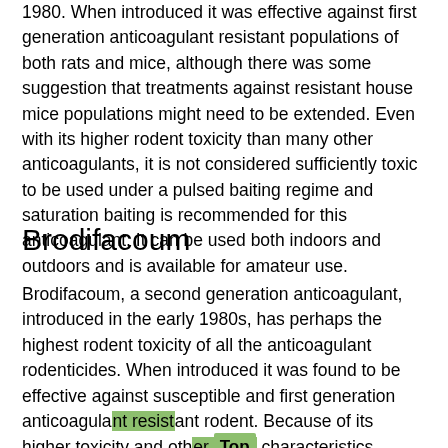1980. When introduced it was effective against first generation anticoagulant resistant populations of both rats and mice, although there was some suggestion that treatments against resistant house mice populations might need to be extended. Even with its higher rodent toxicity than many other anticoagulants, it is not considered sufficiently toxic to be used under a pulsed baiting regime and saturation baiting is recommended for this anticoagulant. It can be used both indoors and outdoors and is available for amateur use.
Brodifacoum
Brodifacoum, a second generation anticoagulant, introduced in the early 1980s, has perhaps the highest rodent toxicity of all the anticoagulant rodenticides. When introduced it was found to be effective against susceptible and first generation anticoagulant resistant rodent. Because of its higher toxicity and other characteristics, brodifacoum is able to deliver and acute LD50 dose through its consumption in bait of less than 10% of the average daily food intake of both rats and house mice. This high toxicity does not reduce the